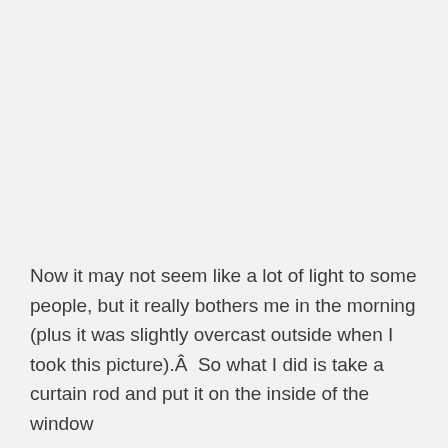Now it may not seem like a lot of light to some people, but it really bothers me in the morning (plus it was slightly overcast outside when I took this picture).Â  So what I did is take a curtain rod and put it on the inside of the window